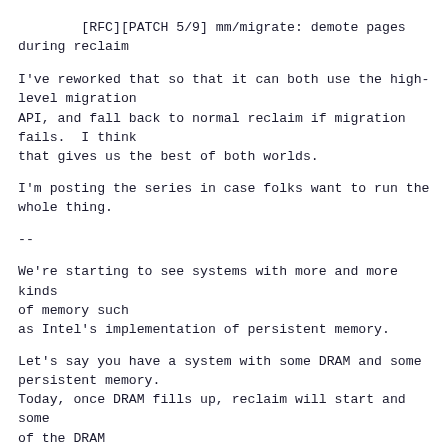[RFC][PATCH 5/9] mm/migrate: demote pages during reclaim
I've reworked that so that it can both use the high-level migration
API, and fall back to normal reclaim if migration fails.  I think
that gives us the best of both worlds.
I'm posting the series in case folks want to run the whole thing.
--
We're starting to see systems with more and more kinds of memory such
as Intel's implementation of persistent memory.
Let's say you have a system with some DRAM and some persistent memory.
Today, once DRAM fills up, reclaim will start and some of the DRAM
contents will be thrown out.  Allocations will, at some point, start
falling over to the slower persistent memory.
That has two nasty properties.  First, the newer allocations can end
up in the slower persistent memory.  Second, reclaimed